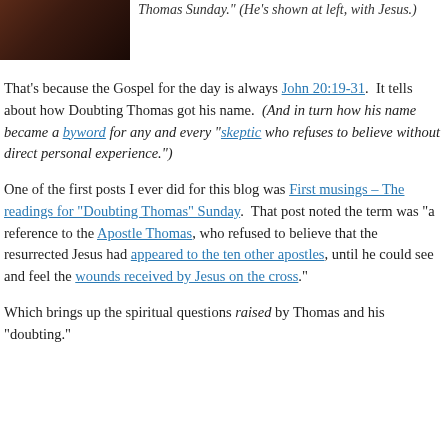[Figure (photo): Photo of Thomas with Jesus, dark toned image]
Thomas Sunday.” (He’s shown at left, with Jesus.)
That’s because the Gospel for the day is always John 20:19-31. It tells about how Doubting Thomas got his name. (And in turn how his name became a byword for any and every “skeptic who refuses to believe without direct personal experience.”)
One of the first posts I ever did for this blog was First musings – The readings for “Doubting Thomas” Sunday. That post noted the term was “a reference to the Apostle Thomas, who refused to believe that the resurrected Jesus had appeared to the ten other apostles, until he could see and feel the wounds received by Jesus on the cross.”
Which brings up the spiritual questions raised by Thomas and his “doubting.”